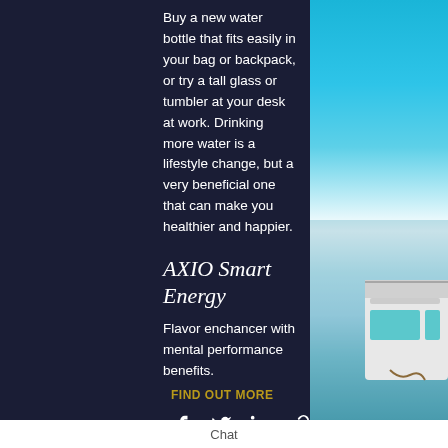Buy a new water bottle that fits easily in your bag or backpack, or try a tall glass or tumbler at your desk at work. Drinking more water is a lifestyle change, but a very beneficial one that can make you healthier and happier.
AXIO Smart Energy
Flavor enchancer with mental performance benefits.
FIND OUT MORE
#Hydrate4Health #H2O #Axio #Winning
[Figure (other): Social share icons: Facebook, Twitter, LinkedIn, link/chain]
[Figure (photo): Outdoor photo of a boat on turquoise water, sunny day]
Chat